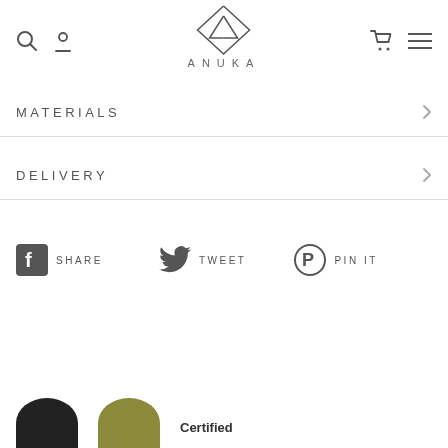[Figure (logo): ANUKA brand logo — geometric diamond/triangle shape above the text ANUKA in spaced caps]
MATERIALS
DELIVERY
SHARE   TWEET   PIN IT
Certified